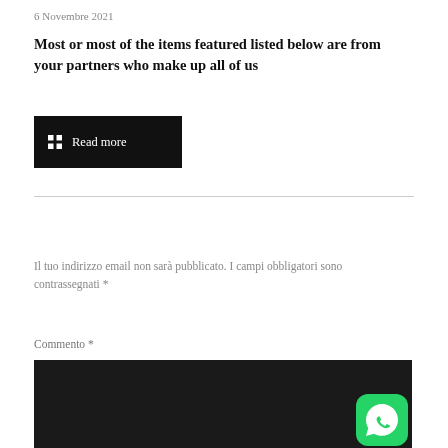6 Novembre 2021
Most or most of the items featured listed below are from your partners who make up all of us
Read more
Il tuo indirizzo email non sarà pubblicato. I campi obbligatori sono contrassegnati *
Commento *
[Figure (screenshot): Dark textarea input field for comment submission, with WhatsApp icon in bottom-right corner]